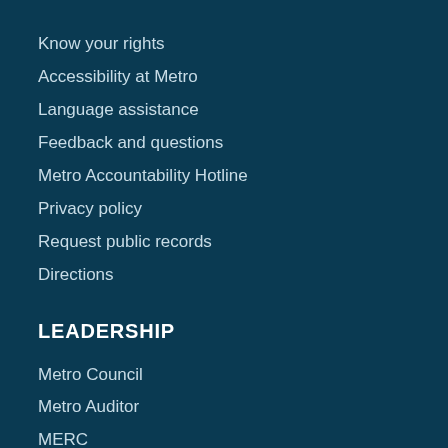Know your rights
Accessibility at Metro
Language assistance
Feedback and questions
Metro Accountability Hotline
Privacy policy
Request public records
Directions
LEADERSHIP
Metro Council
Metro Auditor
MERC
Committees
Who's my councilor?